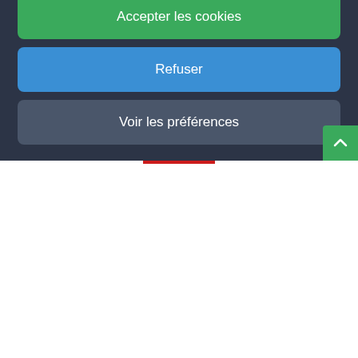ENGINEERING
From the pre-project design stage to detailed studies, Ponticelli offers integrated engineering services to help industrial clients prepare successful projects.
Find out more
Nous utilisons des cookies pour optimiser notre site web et notre service.
Accepter les cookies
Refuser
Voir les préférences